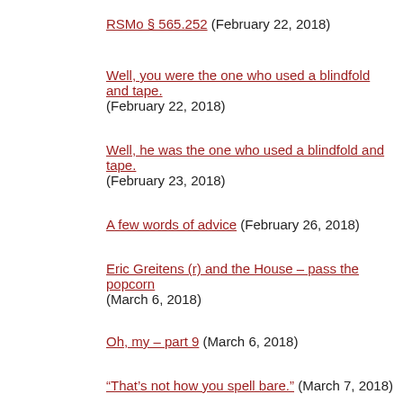RSMo § 565.252 (February 22, 2018)
Well, you were the one who used a blindfold and tape. (February 22, 2018)
Well, he was the one who used a blindfold and tape. (February 23, 2018)
A few words of advice (February 26, 2018)
Eric Greitens (r) and the House – pass the popcorn (March 6, 2018)
Oh, my – part 9 (March 6, 2018)
"That's not how you spell bare." (March 7, 2018)
It's their world, the rest of us only get to live in it (April 8, 2018)